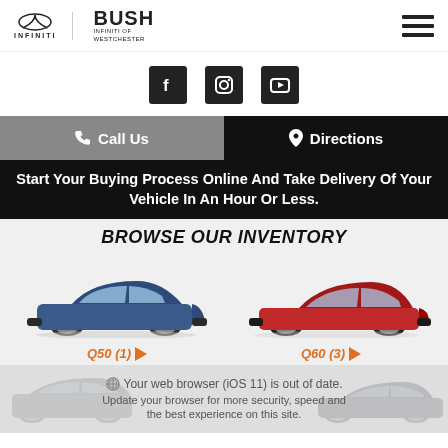[Figure (logo): Infiniti and Bush Infiniti of Westchester logos on the left, hamburger menu icon on the right]
[Figure (logo): Social media icons: Facebook, Instagram, YouTube]
Call Us
Directions
Start Your Buying Process Online And Take Delivery Of Your Vehicle In An Hour Or Less.
BROWSE OUR INVENTORY
[Figure (photo): Blue Infiniti Q50 sedan side view]
[Figure (photo): Red Infiniti Q60 coupe side view]
Q50 (1)
Q60 (3)
Your web browser (iOS 11) is out of date. Update your browser for more security, speed and the best experience on this site.